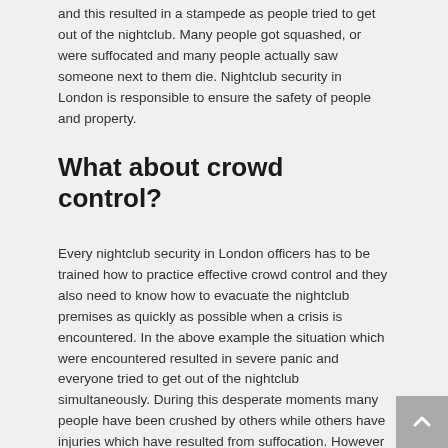and this resulted in a stampede as people tried to get out of the nightclub. Many people got squashed, or were suffocated and many people actually saw someone next to them die. Nightclub security in London is responsible to ensure the safety of people and property.
What about crowd control?
Every nightclub security in London officers has to be trained how to practice effective crowd control and they also need to know how to evacuate the nightclub premises as quickly as possible when a crisis is encountered. In the above example the situation which were encountered resulted in severe panic and everyone tried to get out of the nightclub simultaneously. During this desperate moments many people have been crushed by others while others have injuries which have resulted from suffocation. However people who came to pick up family and friends saw many people backed up against the windows as they tried to get the way from the pepper spray fumes. Nightclub security in London have to do everything in their ability to prevent such a situation from taking place.